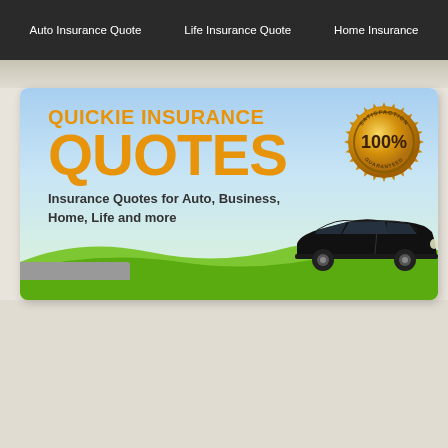Auto Insurance Quote | Life Insurance Quote | Home Insurance
[Figure (illustration): Insurance website banner with orange text 'QUICKIE INSURANCE QUOTES', subtext 'Insurance Quotes for Auto, Business, Home, Life and more', a gold 100% satisfaction guaranteed badge, a black car on green grass with blue sky background]